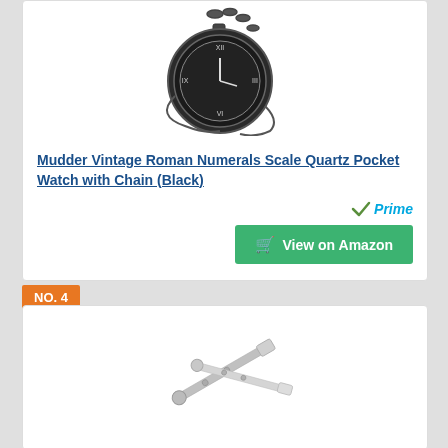[Figure (photo): Pocket watch with chain, black metal, Roman numeral face, partially visible at top of card]
Mudder Vintage Roman Numerals Scale Quartz Pocket Watch with Chain (Black)
[Figure (logo): Amazon Prime checkmark logo with 'Prime' text in blue italic]
View on Amazon
NO. 4
[Figure (photo): Chrome/silver metal watch spring bar tools, two pieces crossed, on white background]